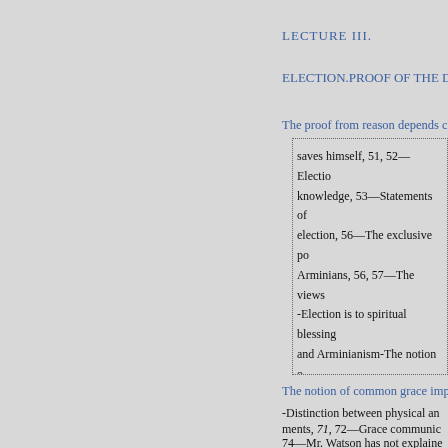LECTURE III.
ELECTION.PROOF OF THE D
The proof from reason depends c
saves himself, 51, 52—Election knowledge, 53—Statements of election, 56—The exclusive po Arminians, 56, 57—The views -Election is to spiritual blessing and Arminianism-The notion o
3
The notion of common grace imp
-Distinction between physical an
ments, 71, 72—Grace communic
74—Mr. Watson has not explaine